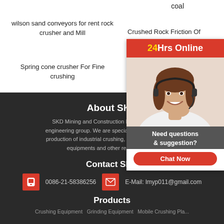coal
wilson sand conveyors for rent rock crusher and Mill
Crushed Rock Friction Of Angle
Spring cone crusher For Fine crushing
copper be... manufac...
[Figure (other): 24Hrs Online chat widget with agent photo, 'Need questions & suggestion?' and Chat Now button]
About SKD
SKD Mining and Construction Machinery Co., L... engineering group. We are specialized in the researc... production of industrial crushing, powder grinding, m... equipments and other related devic...
Contact SKD
0086-21-58386256
E-Mail: lmyp011@gmail.com
Products
Crushing Equipment  Grinding Equipment  Mobile Crushing Pla...